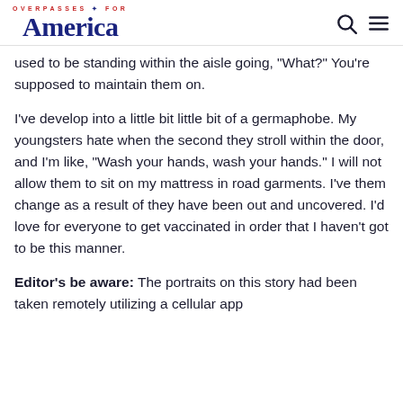OVERPASSES FOR America
used to be standing within the aisle going, "What?" You're supposed to maintain them on.
I've develop into a little bit little bit of a germaphobe. My youngsters hate when the second they stroll within the door, and I'm like, "Wash your hands, wash your hands." I will not allow them to sit on my mattress in road garments. I've them change as a result of they have been out and uncovered. I'd love for everyone to get vaccinated in order that I haven't got to be this manner.
Editor's be aware: The portraits on this story had been taken remotely utilizing a cellular app